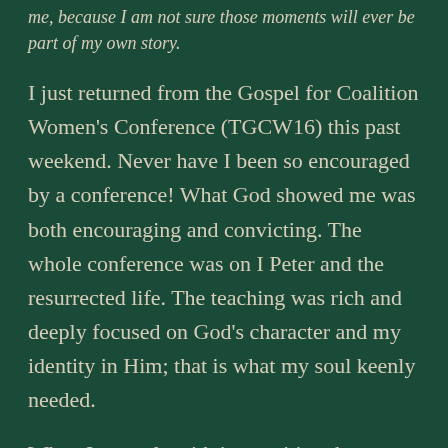me, because I am not sure those moments will ever be part of my own story.
I just returned from the Gospel for Coalition Women's Conference (TGCW16) this past weekend. Never have I been so encouraged by a conference! What God showed me was both encouraging and convicting. The whole conference was on I Peter and the resurrected life. The teaching was rich and deeply focused on God's character and my identity in Him; that is what my soul keenly needed.
When I struggle with insecurities about singleness or even what's next for my life, that reveals, at the